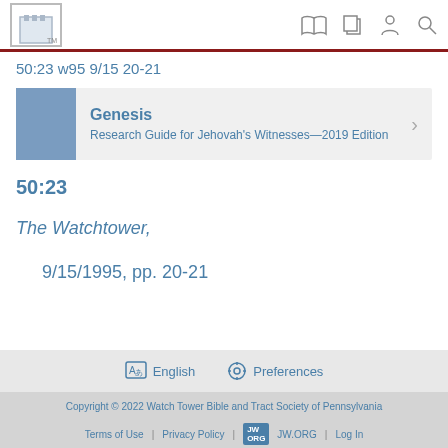JW Library app header with logo and nav icons
50:23 w95 9/15 20-21
Genesis
Research Guide for Jehovah's Witnesses—2019 Edition
50:23
The Watchtower,
9/15/1995, pp. 20-21
English  Preferences
Copyright © 2022 Watch Tower Bible and Tract Society of Pennsylvania
Terms of Use | Privacy Policy | JW.ORG | Log In